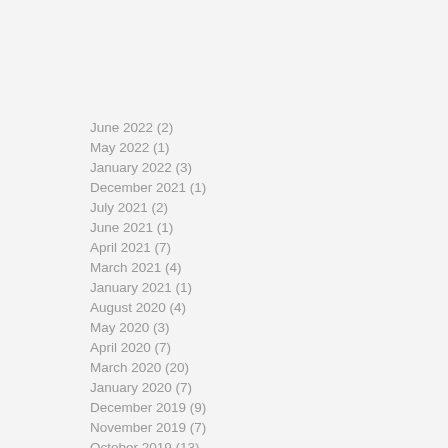June 2022 (2)
May 2022 (1)
January 2022 (3)
December 2021 (1)
July 2021 (2)
June 2021 (1)
April 2021 (7)
March 2021 (4)
January 2021 (1)
August 2020 (4)
May 2020 (3)
April 2020 (7)
March 2020 (20)
January 2020 (7)
December 2019 (9)
November 2019 (7)
October 2019 (13)
September 2019 (17)